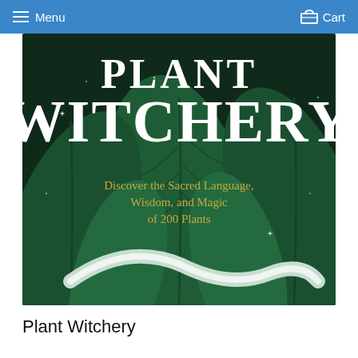Menu   Cart
[Figure (photo): Book cover of 'Plant Witchery' showing large tropical green leaves with sparkle effects on a dark background. The title 'PLANT WITCHERY' is displayed in large white serif font, with subtitle 'Discover the Sacred Language, Wisdom, and Magic of 200 Plants' in gold text.]
Plant Witchery